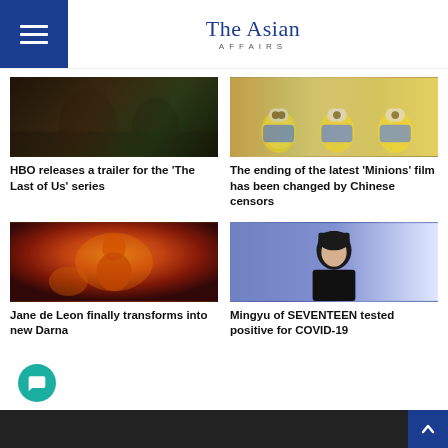The Asian Affairs
[Figure (photo): Dark jungle scene from The Last of Us HBO series]
HBO releases a trailer for the 'The Last of Us' series
[Figure (photo): Minions characters from animated film]
The ending of the latest 'Minions' film has been changed by Chinese censors
[Figure (photo): Jane de Leon as Darna in action pose with fire effects]
Jane de Leon finally transforms into new Darna
[Figure (photo): Mingyu of SEVENTEEN at press event in black outfit against purple background]
Mingyu of SEVENTEEN tested positive for COVID-19